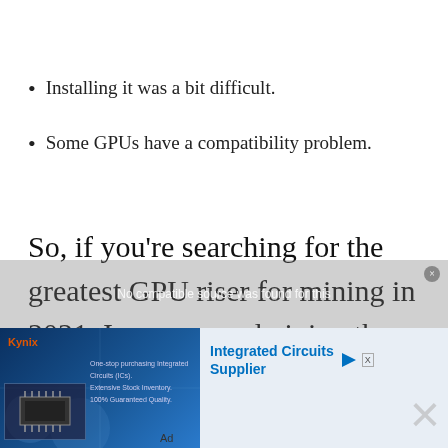Installing it was a bit difficult.
Some GPUs have a compatibility problem.
So, if you’re searching for the greatest GPU riser for mining in 2021, I recommend giving the Ubit Latest
[Figure (screenshot): Advertisement overlay showing 'No compatible source was found for this' message with an integrated circuits supplier ad banner below, featuring a blue circuit board background with chip image, brand name 'Kynix', taglines, and 'Integrated Circuits Supplier' text link with close button and 'Ad' label.]